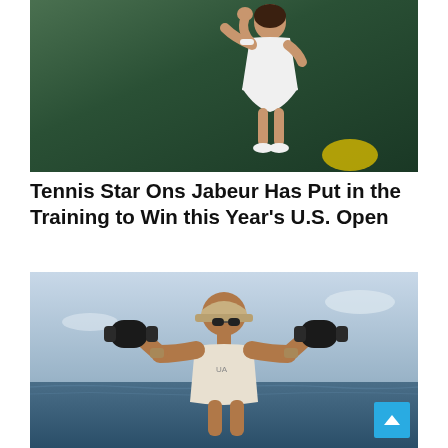[Figure (photo): Tennis player Ons Jabeur in white tennis dress raising hand on a Wimbledon-style green court]
Tennis Star Ons Jabeur Has Put in the Training to Win this Year's U.S. Open
[Figure (photo): A muscular man in a sleeveless shirt wearing sunglasses and a cap, lifting heavy dumbbells near the sea]